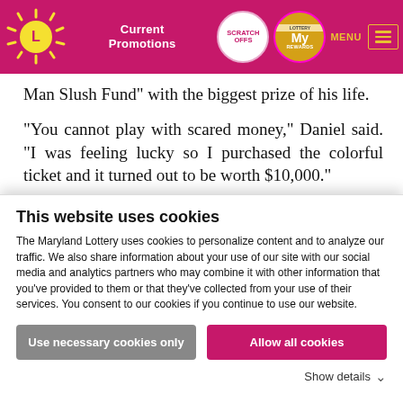Maryland Lottery – Current Promotions | Scratch Offs | My Rewards | MENU
Man Slush Fund” with the biggest prize of his life.
“You cannot play with scared money,” Daniel said. “I was feeling lucky so I purchased the colorful ticket and it turned out to be worth $10,000.”
The Boonsboro resident owns and operates a masonry business in the Washington County area. “I’ve been in business for 25 years.” said the 51-year-old. “but scratching that winning ticket
This website uses cookies
The Maryland Lottery uses cookies to personalize content and to analyze our traffic. We also share information about your use of our site with our social media and analytics partners who may combine it with other information that you’ve provided to them or that they’ve collected from your use of their services. You consent to our cookies if you continue to use our website.
Use necessary cookies only | Allow all cookies
Show details